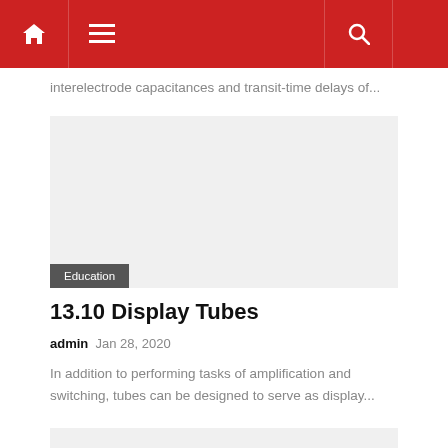Navigation bar with home, menu, and search icons
interelectrode capacitances and transit-time delays of...
[Figure (photo): Light gray placeholder image for article thumbnail]
Education
13.10 Display Tubes
admin  Jan 28, 2020
In addition to performing tasks of amplification and switching, tubes can be designed to serve as display...